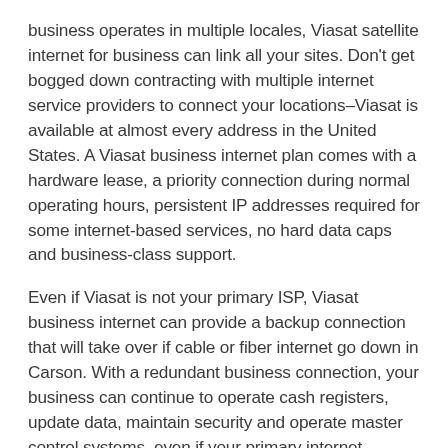business operates in multiple locales, Viasat satellite internet for business can link all your sites. Don't get bogged down contracting with multiple internet service providers to connect your locations–Viasat is available at almost every address in the United States. A Viasat business internet plan comes with a hardware lease, a priority connection during normal operating hours, persistent IP addresses required for some internet-based services, no hard data caps and business-class support.
Even if Viasat is not your primary ISP, Viasat business internet can provide a backup connection that will take over if cable or fiber internet go down in Carson. With a redundant business connection, your business can continue to operate cash registers, update data, maintain security and operate master control systems, even if your primary internet provider is down for days. Add a secondary internet connection today to protect your business from the financial losses an internet outage can cause.